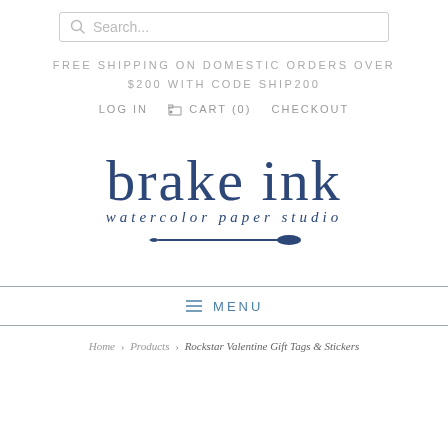Search...
FREE SHIPPING ON DOMESTIC ORDERS OVER $200 WITH CODE SHIP200
LOG IN  CART (0)  CHECKOUT
[Figure (logo): Brake Ink watercolor paper studio logo with paintbrush decoration]
MENU
Home > Products > Rockstar Valentine Gift Tags & Stickers